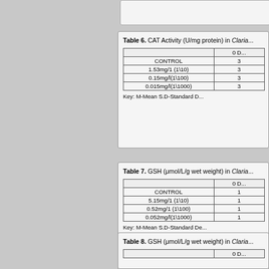|  | 0 D... |
| --- | --- |
| CONTROL | 3 |
| 1.53mg/1 (1\10) | 3 |
| 0.15mg/l(1\100) | 3 |
| 0.015mg/l(1\1000) | 3 |
Key: M-Mean S.D-Standard D...
|  | 0 D... |
| --- | --- |
| CONTROL | 1 |
| 5.15mg/1 (1\10) | 1 |
| 0.52mg/1 (1\100) | 1 |
| 0.052mg/l(1\1000) | 1 |
Key: M-Mean S.D-Standard De...
|  | 0 D... |
| --- | --- |